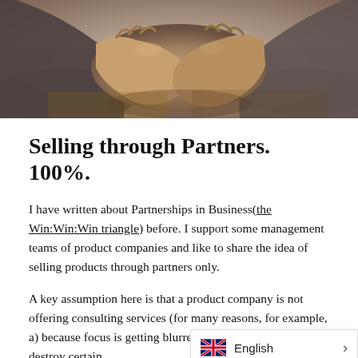[Figure (photo): Close-up photo of two people shaking hands, warm tones, business setting background]
Selling through Partners. 100%.
I have written about Partnerships in Business(the Win:Win:Win triangle) before. I support some management teams of product companies and like to share the idea of selling products through partners only.
A key assumption here is that a product company is not offering consulting services (for many reasons, for example, a) because focus is getting blurred, b) because it could destroy certain...